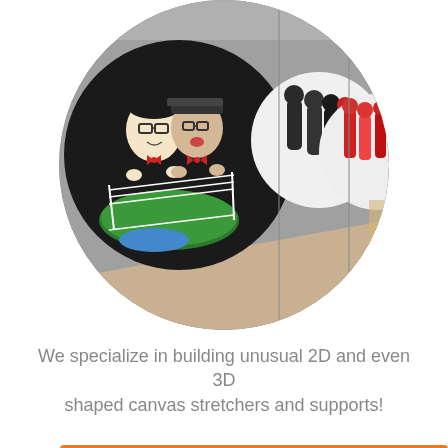[Figure (photo): A circular-cropped photograph showing a hallway wall with large circular artwork pieces mounted on it. The largest circle on the left has a black background with a caricature illustration of two people with glasses near a boxing ring. To the right are additional circular artworks on a gray wall showing sports-themed figures.]
We specialize in building unusual 2D and even 3D shaped canvas stretchers and supports!
Explore Custom Unique Shaped Supports